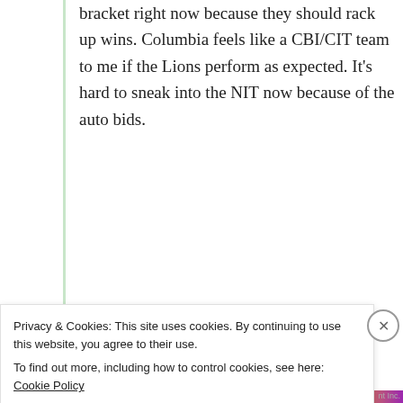bracket right now because they should rack up wins. Columbia feels like a CBI/CIT team to me if the Lions perform as expected. It’s hard to sneak into the NIT now because of the auto bids.
★ Like
↵ Reply
Leave a Reply
Privacy & Cookies: This site uses cookies. By continuing to use this website, you agree to their use. To find out more, including how to control cookies, see here: Cookie Policy
Close and accept